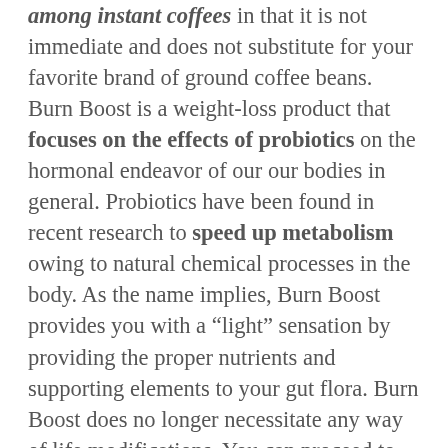among instant coffees in that it is not immediate and does not substitute for your favorite brand of ground coffee beans. Burn Boost is a weight-loss product that focuses on the effects of probiotics on the hormonal endeavor of our our bodies in general. Probiotics have been found in recent research to speed up metabolism owing to natural chemical processes in the body. As the name implies, Burn Boost provides you with a “light” sensation by providing the proper nutrients and supporting elements to your gut flora. Burn Boost does no longer necessitate any way of life modifications. You can proceed to devour the way you want. You can spend the whole day doing nothing.
http://ipsnews.net/business/2022/05/18/gold-vida-burn-boost-reviews-ingredients-side-effects-pros-cons-here/
https://corosocial.com/read-blog/109259